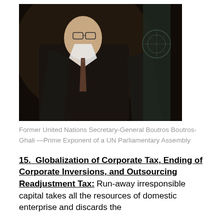[Figure (photo): Black and white photo of Former United Nations Secretary-General Boutros Boutros-Ghali standing in a dark suit with glasses, with a UN flag visible in the background.]
Former United Nations Secretary-General Boutros Boutros-Ghali —Prime Exponent of a UN Parliamentary Assembly
15.  Globalization of Corporate Tax, Ending of Corporate Inversions, and Outsourcing Readjustment Tax:
Run-away irresponsible capital takes all the resources of domestic enterprise and discards the